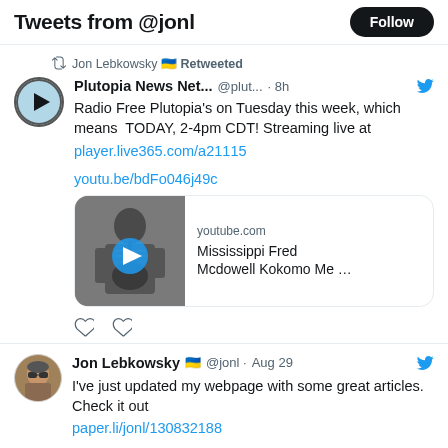Tweets from @jonl
Jon Lebkowsky 🇺🇦 Retweeted
Plutopia News Net... @plut... · 8h
Radio Free Plutopia's on Tuesday this week, which means  TODAY, 2-4pm CDT! Streaming live at player.live365.com/a21115

youtu.be/bdFo046j49c
[Figure (screenshot): YouTube video card showing Mississippi Fred Mcdowell Kokomo Me ... with a black and white photo thumbnail and play button]
Jon Lebkowsky 🇺🇦 @jonl · Aug 29
I've just updated my webpage with some great articles. Check it out paper.li/jonl/130832188